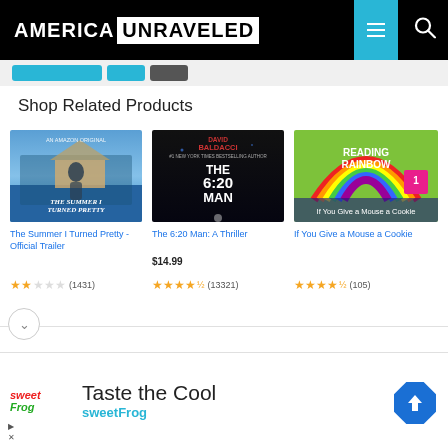AMERICA UNRAVELED
Shop Related Products
[Figure (photo): Book/video cover: The Summer I Turned Pretty - Official Trailer, Amazon Original]
The Summer I Turned Pretty - Official Trailer
★★☆☆☆ (1431)
[Figure (photo): Book cover: The 6:20 Man: A Thriller by David Baldacci]
The 6:20 Man: A Thriller
$14.99
★★★★½ (13321)
[Figure (photo): Book cover: Reading Rainbow Vol. 1 - If You Give a Mouse a Cookie]
If You Give a Mouse a Cookie
★★★★½ (105)
Taste the Cool
sweetFrog